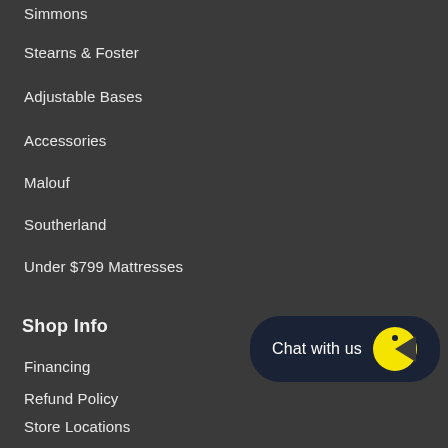Simmons
Stearns & Foster
Adjustable Bases
Accessories
Malouf
Southerland
Under $799 Mattresses
Shop Info
Financing
Refund Policy
Store Locations
Terms Of Service
Terms of Service
Refund policy
[Figure (illustration): Chat with us button with yellow pac-man style icon on dark navy background, bottom-right corner]